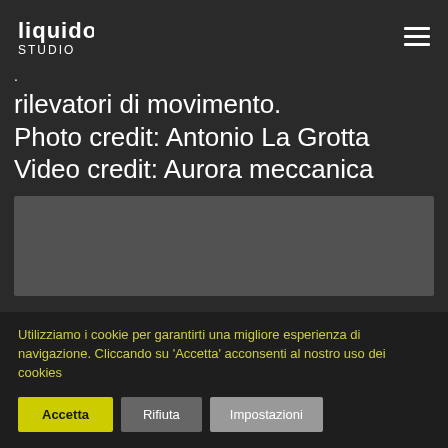Liquido Studio logo and navigation
·
rilevatori di movimento.
Photo credit: Antonio La Grotta
Video credit: Aurora meccanica
[Figure (other): Dark gray video/media placeholder rectangle]
Utilizziamo i cookie per garantirti una migliore esperienza di navigazione. Cliccando su 'Accetta' acconsenti al nostro uso dei cookies
Accetta | Rifiuta | Impostazioni